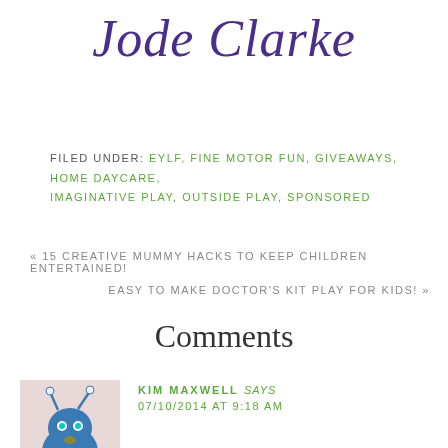Jode Clarke
FILED UNDER: EYLF, FINE MOTOR FUN, GIVEAWAYS, HOME DAYCARE, IMAGINATIVE PLAY, OUTSIDE PLAY, SPONSORED
« 15 CREATIVE MUMMY HACKS TO KEEP CHILDREN ENTERTAINED!
EASY TO MAKE DOCTOR'S KIT PLAY FOR KIDS! »
Comments
KIM MAXWELL says 07/10/2014 AT 9:18 AM
[Figure (illustration): Cartoon alien/monster character in blue with antennae and claws on a light pink background]